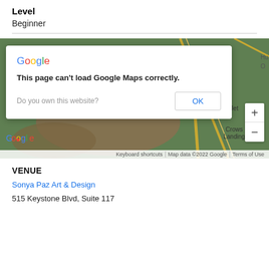Level
Beginner
[Figure (screenshot): Google Maps embedded map showing the area around Diablo Grande, Jet, and Crows Landing, with a dialog box reading 'This page can't load Google Maps correctly. Do you own this website? OK']
VENUE
Sonya Paz Art & Design
515 Keystone Blvd, Suite 117